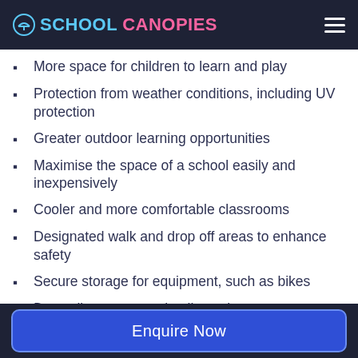SCHOOL CANOPIES
More space for children to learn and play
Protection from weather conditions, including UV protection
Greater outdoor learning opportunities
Maximise the space of a school easily and inexpensively
Cooler and more comfortable classrooms
Designated walk and drop off areas to enhance safety
Secure storage for equipment, such as bikes
Dry walkways to use in all weather
Enquire Now